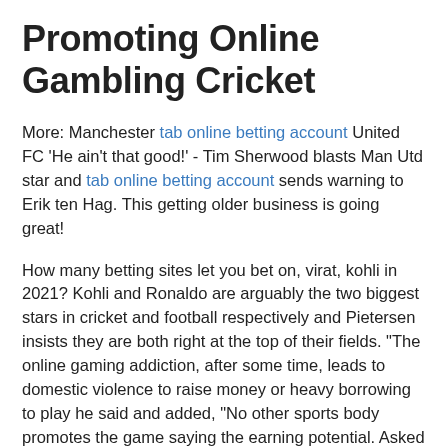Promoting Online Gambling Cricket
More: Manchester tab online betting account United FC 'He ain't that good!' - Tim Sherwood blasts Man Utd star and tab online betting account sends warning to Erik ten Hag. This getting older business is going great!
How many betting sites let you bet on, virat, kohli in 2021? Kohli and Ronaldo are arguably the two biggest stars in cricket and football respectively and Pietersen insists they are both right at the top of their fields. "The online gaming addiction, after some time, leads to domestic violence to raise money or heavy borrowing to play he said and added, "No other sports body promotes the game saying the earning potential. Asked about Kohlis form, Pietersen told Star Sports: What he needs to do is to have a look at Manchester United and Cristiano Ronaldo.
Thats what players like him and Ronaldo care about. 8/13, virat Kohli, former India skinner Virat Kohli looks cute as hell